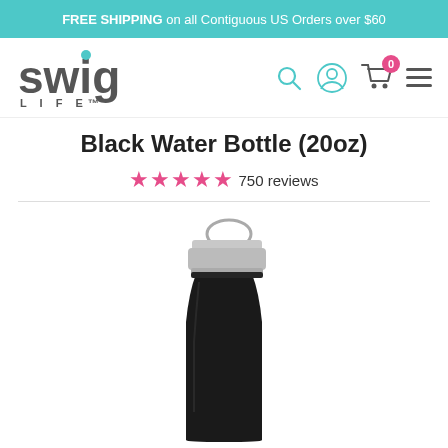FREE SHIPPING on all Contiguous US Orders over $60
[Figure (logo): Swig Life logo with teal drop on the i]
Black Water Bottle (20oz)
★★★★★ 750 reviews
[Figure (photo): Black stainless steel water bottle with silver screw-on loop lid, 20oz, matte black finish, shown from just below the cap downward on a white background]